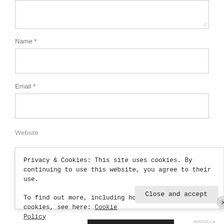[Figure (screenshot): Textarea input box (partially visible, top of page) with resize handle at bottom-right corner]
Name *
[Figure (screenshot): Name input field — single-line text input box]
Email *
[Figure (screenshot): Email input field — single-line text input box]
Website
Privacy & Cookies: This site uses cookies. By continuing to use this website, you agree to their use.
To find out more, including how to control cookies, see here: Cookie Policy
Close and accept